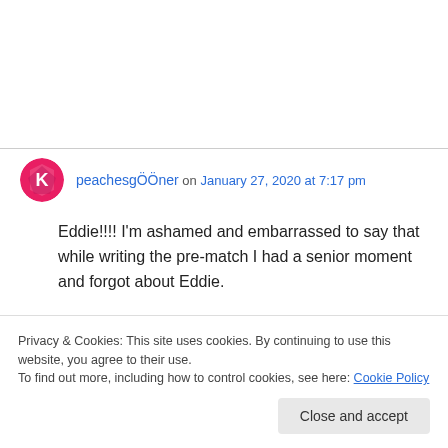peachesgÖÖner on January 27, 2020 at 7:17 pm
Eddie!!!! I'm ashamed and embarrassed to say that while writing the pre-match I had a senior moment and forgot about Eddie.

Many apologies Eddie, now go and score please.
Privacy & Cookies: This site uses cookies. By continuing to use this website, you agree to their use.
To find out more, including how to control cookies, see here: Cookie Policy
Close and accept
That is some funny stuff.